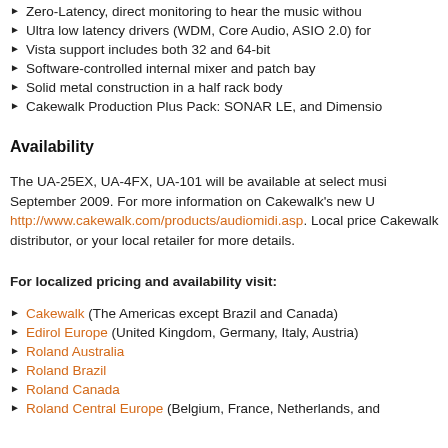Zero-Latency, direct monitoring to hear the music without...
Ultra low latency drivers (WDM, Core Audio, ASIO 2.0) for...
Vista support includes both 32 and 64-bit
Software-controlled internal mixer and patch bay
Solid metal construction in a half rack body
Cakewalk Production Plus Pack: SONAR LE, and Dimensio...
Availability
The UA-25EX, UA-4FX, UA-101 will be available at select musi... September 2009. For more information on Cakewalk's new U... http://www.cakewalk.com/products/audiomidi.asp. Local price... Cakewalk distributor, or your local retailer for more details.
For localized pricing and availability visit:
Cakewalk (The Americas except Brazil and Canada)
Edirol Europe (United Kingdom, Germany, Italy, Austria)
Roland Australia
Roland Brazil
Roland Canada
Roland Central Europe (Belgium, France, Netherlands, and...